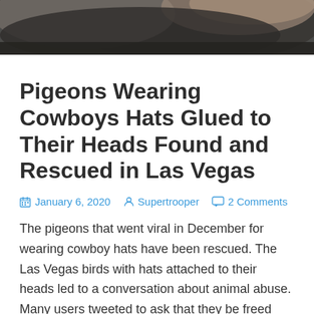[Figure (photo): Close-up photo of a dark-colored bird (pigeon) being held, visible at top of page as a cropped strip]
Pigeons Wearing Cowboys Hats Glued to Their Heads Found and Rescued in Las Vegas
January 6, 2020   Supertrooper   2 Comments
The pigeons that went viral in December for wearing cowboy hats have been rescued. The Las Vegas birds with hats attached to their heads led to a conversation about animal abuse. Many users tweeted to ask that they be freed from their hats. In early December, a Facebook video posted